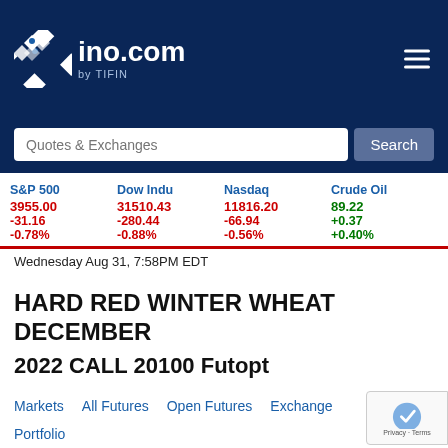[Figure (logo): ino.com by TIFIN logo with diamond/cross shape icon on dark navy background]
| S&P 500 | Dow Indu | Nasdaq | Crude Oil |
| --- | --- | --- | --- |
| 3955.00 | 31510.43 | 11816.20 | 89.22 |
| -31.16 | -280.44 | -66.94 | +0.37 |
| -0.78% | -0.88% | -0.56% | +0.40% |
Wednesday Aug 31, 7:58PM EDT
HARD RED WINTER WHEAT DECEMBER 2022 CALL 20100 Futopt
Markets
All Futures
Open Futures
Exchange
Portfolio